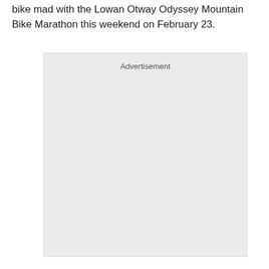bike mad with the Lowan Otway Odyssey Mountain Bike Marathon this weekend on February 23.
[Figure (other): Advertisement placeholder box with light grey background and 'Advertisement' label at the top center.]